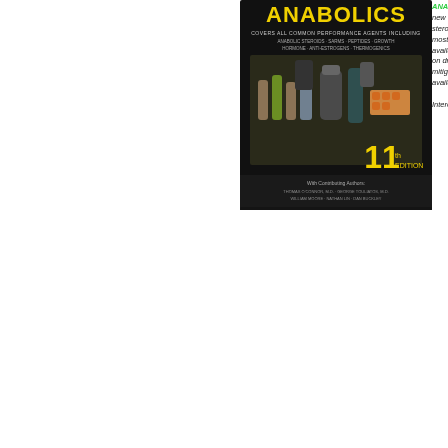[Figure (photo): Book cover of 'Anabolics 11th Edition' showing a dark background with various steroid vials, pills and bottles, yellow title text 'ANABOLICS', edition number '11' in yellow, and contributing authors listed at the bottom.]
ANABOLICS ... the making of a new top-selling steroidal guide ... most detailed available ... on drug mitigation available.

Interest...